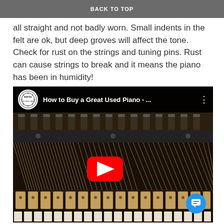BACK TO TOP
all straight and not badly worn. Small indents in the felt are ok, but deep groves will affect the tone. Check for rust on the strings and tuning pins. Rust can cause strings to break and it means the piano has been in humidity!
[Figure (screenshot): Embedded YouTube video thumbnail showing piano interior (strings, tuning pins, hammers) with RPTA logo and title 'How to Buy a Great Used Piano - ...' and a red YouTube play button in the center.]